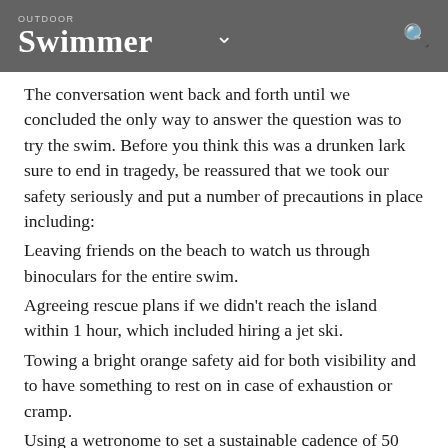OUTDOOR Swimmer
The conversation went back and forth until we concluded the only way to answer the question was to try the swim. Before you think this was a drunken lark sure to end in tragedy, be reassured that we took our safety seriously and put a number of precautions in place including:
Leaving friends on the beach to watch us through binoculars for the entire swim.
Agreeing rescue plans if we didn't reach the island within 1 hour, which included hiring a jet ski.
Towing a bright orange safety aid for both visibility and to have something to rest on in case of exhaustion or cramp.
Using a wetronome to set a sustainable cadence of 50 strokes per minute we started out for the island, swimming perhaps a little closer together than usual, and 30 minutes later, elated, we arrived.
After a short rest we gently eased ourselves back down